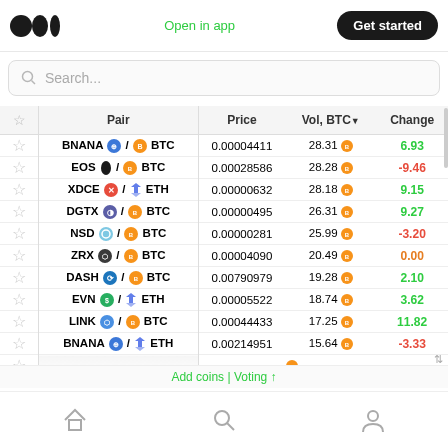Medium logo | Open in app | Get started
| ☆ | Pair | Price | Vol, BTC▼ | Change |
| --- | --- | --- | --- | --- |
| ☆ | BNANA / BTC | 0.00004411 | 28.31 | 6.93 |
| ☆ | EOS / BTC | 0.00028586 | 28.28 | -9.46 |
| ☆ | XDCE / ETH | 0.00000632 | 28.18 | 9.15 |
| ☆ | DGTX / BTC | 0.00000495 | 26.31 | 9.27 |
| ☆ | NSD / BTC | 0.00000281 | 25.99 | -3.20 |
| ☆ | ZRX / BTC | 0.00004090 | 20.49 | 0.00 |
| ☆ | DASH / BTC | 0.00790979 | 19.28 | 2.10 |
| ☆ | EVN / ETH | 0.00005522 | 18.74 | 3.62 |
| ☆ | LINK / BTC | 0.00044433 | 17.25 | 11.82 |
| ☆ | BNANA / ETH | 0.00214951 | 15.64 | -3.33 |
Add coins | Voting ↑
Home | Search | Profile